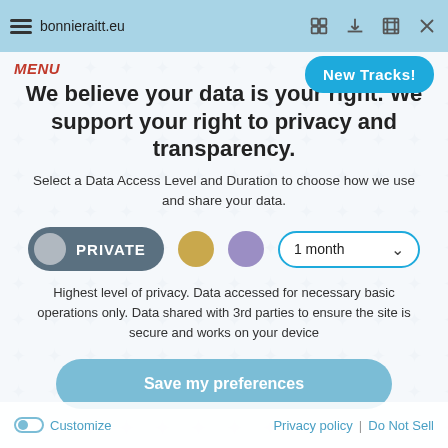bonnieraitt.eu
We believe your data is your right. We support your right to privacy and transparency.
Select a Data Access Level and Duration to choose how we use and share your data.
[Figure (infographic): Privacy level selector row with PRIVATE pill button (grey), a gold circle, a lavender circle, and a 1 month dropdown]
Highest level of privacy. Data accessed for necessary basic operations only. Data shared with 3rd parties to ensure the site is secure and works on your device
Save my preferences
Customize | Privacy policy | Do Not Sell